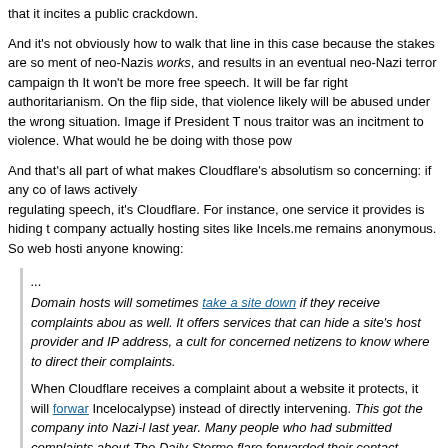that it incites a public crackdown.
And it's not obviously how to walk that line in this case because the stakes are so ment of neo-Nazis works, and results in an eventual neo-Nazi terror campaign th It won't be more free speech. It will be far right authoritarianism. On the flip side, that violence likely will be abused under the wrong situation. Image if President T nous traitor was an incitment to violence. What would he be doing with those pow
And that's all part of what makes Cloudflare's absolutism so concerning: if any co of laws actively regulating speech, it's Cloudflare. For instance, one service it provides is hiding t company actually hosting sites like Incels.me remains anonymous. So web hosti anyone knowing:
... Domain hosts will sometimes take a site down if they receive complaints abou as well. It offers services that can hide a site's host provider and IP address, a cult for concerned netizens to know where to direct their complaints.
When Cloudflare receives a complaint about a website it protects, it will forwar Incelocalypse) instead of directly intervening. This got the company into Nazi-l last year. Many people who had submitted complaints about The Daily Storme flare forwarded their contact information to the neo-Nazi site, effectively ratting adjusted its system. ...